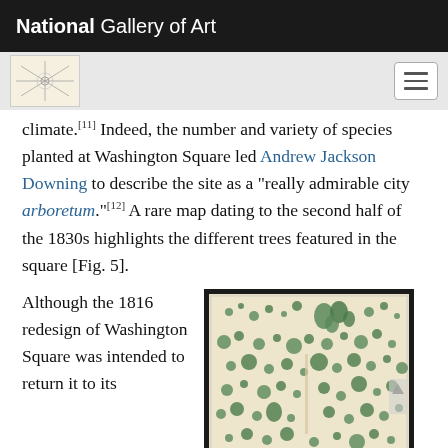National Gallery of Art
climate.[11] Indeed, the number and variety of species planted at Washington Square led Andrew Jackson Downing to describe the site as a "really admirable city arboretum."[12] A rare map dating to the second half of the 1830s highlights the different trees featured in the square [Fig. 5].
Although the 1816 redesign of Washington Square was intended to return it to its
[Figure (photo): A historical map from the second half of the 1830s showing Washington Square with various trees depicted as green spots/circles of different sizes scattered across the square layout, framed in dark/black frame.]